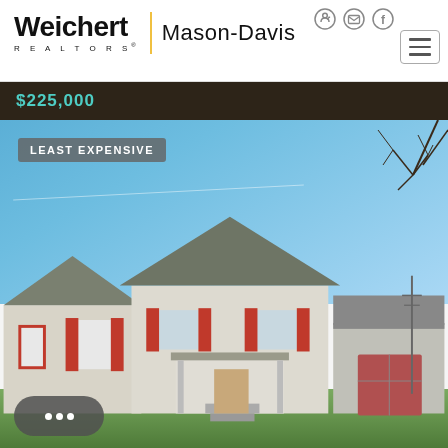Weichert REALTORS® Mason-Davis
$225,000
[Figure (photo): Exterior photo of a single-story ranch house with white vinyl siding, red shutters, covered front porch, and a metal garage/outbuilding to the right. Blue sky with bare tree branches visible. Labeled 'LEAST EXPENSIVE'.]